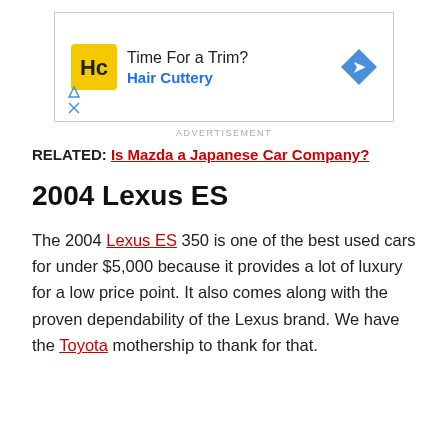[Figure (other): Advertisement banner for Hair Cuttery with yellow HC logo, text 'Time For a Trim? Hair Cuttery' and a blue diamond direction arrow icon.]
ADVERTISEMENT
RELATED: Is Mazda a Japanese Car Company?
2004 Lexus ES
The 2004 Lexus ES 350 is one of the best used cars for under $5,000 because it provides a lot of luxury for a low price point. It also comes along with the proven dependability of the Lexus brand. We have the Toyota mothership to thank for that.